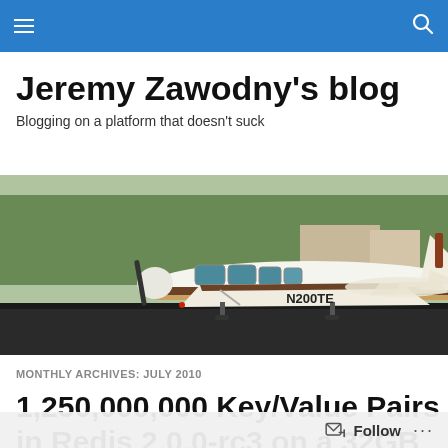Navigation bar with menu and search icons
Jeremy Zawodny's blog
Blogging on a platform that doesn't suck
[Figure (photo): A white and brown Beechcraft Bonanza airplane with tail number N200TE parked on an airport tarmac. Trees and buildings visible in the background.]
MONTHLY ARCHIVES: JULY 2010
1,250,000,000 Key/Value Pairs in Redis 2.0.0-rc3 on a 32GB Machine
Follow ...